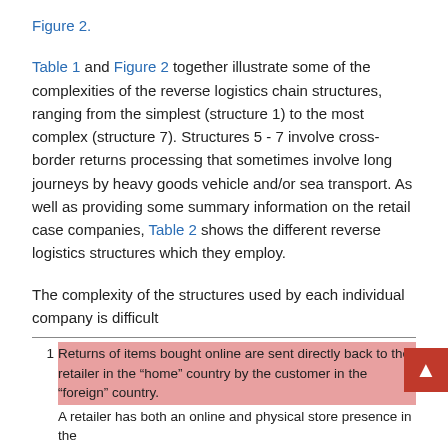Figure 2.
Table 1 and Figure 2 together illustrate some of the complexities of the reverse logistics chain structures, ranging from the simplest (structure 1) to the most complex (structure 7). Structures 5 - 7 involve cross-border returns processing that sometimes involve long journeys by heavy goods vehicle and/or sea transport. As well as providing some summary information on the retail case companies, Table 2 shows the different reverse logistics structures which they employ.
The complexity of the structures used by each individual company is difficult
1  Returns of items bought online are sent directly back to the retailer in the “home” country by the customer in the “foreign” country.
A retailer has both an online and physical store presence in the